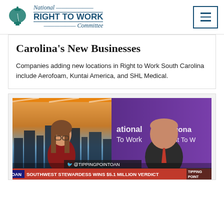National Right to Work Committee
Carolina's New Businesses
Companies adding new locations in Right to Work South Carolina include Aerofoam, Kuntai America, and SHL Medical.
[Figure (screenshot): TV news screenshot showing a female anchor on the left with a city skyline background and a man in a suit on the right in front of a purple National Right To Work backdrop. OAN lower-third chyron reads: SOUTHWEST STEWARDESS WINS $5.1 MILLION VERDICT. Twitter handle @TIPPINGPOINTOAN shown.]